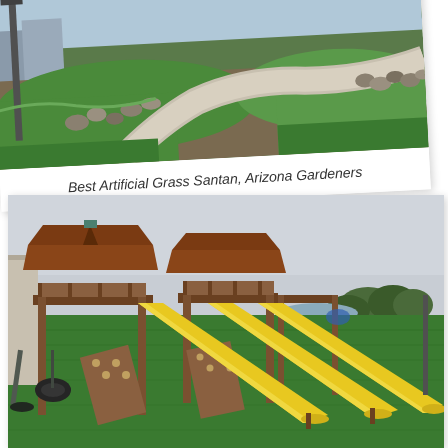[Figure (photo): Aerial/ground view of artificial grass landscaping with a concrete pathway, rocks, and green turf in Santan, Arizona]
Best Artificial Grass Santan, Arizona Gardeners
[Figure (photo): Large wooden playground set with yellow slides and climbing walls on artificial green grass, overcast sky in background]